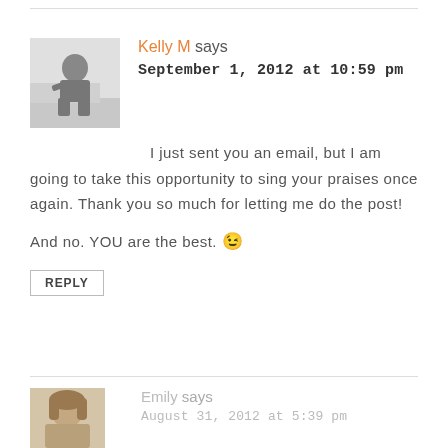Kelly M says
September 1, 2012 at 10:59 pm
I just sent you an email, but I am going to take this opportunity to sing your praises once again. Thank you so much for letting me do the post!
And no. YOU are the best. 😉
REPLY
Emily says